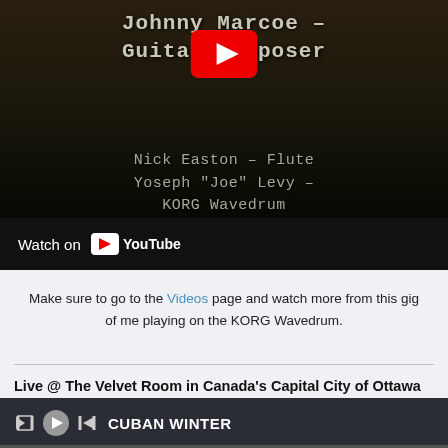[Figure (screenshot): YouTube embedded video thumbnail showing text: 'Johnny Marcoe – Guitar Composer' and 'Nick Easton – Flute, Yoseph "Joe" Levy – KORG Wavedrum' with a YouTube play button overlay and a 'Watch on YouTube' bar at the bottom]
Make sure to go to the Videos page and watch more from this gig of me playing on the KORG Wavedrum.
Live @ The Velvet Room in Canada's Capital City of Ottawa performing with Eldan Cohen & Friends!
CUBAN WINTER